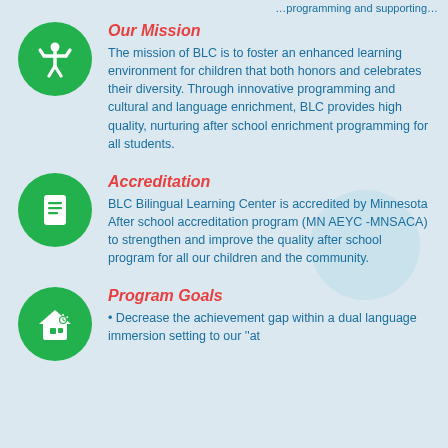…programming and supporting…
Our Mission
The mission of BLC is to foster an enhanced learning environment for children that both honors and celebrates their diversity. Through innovative programming and cultural and language enrichment, BLC provides high quality, nurturing after school enrichment programming for all students.
Accreditation
BLC Bilingual Learning Center is accredited by Minnesota After school accreditation program (MN AEYC -MNSACA) to strengthen and improve the quality after school program for all our children and the community.
Program Goals
• Decrease the achievement gap within a dual language immersion setting to our "at